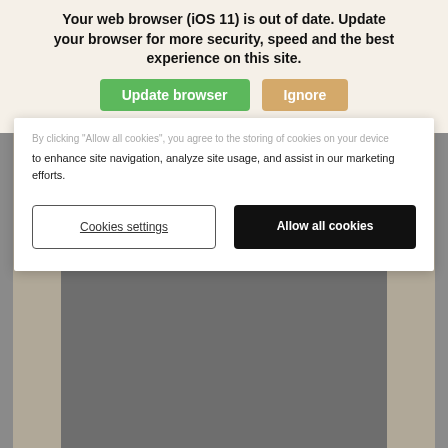[Figure (screenshot): Background of a webpage showing a muted brownish-beige pattern and a gray photo area below the modals.]
Your web browser (iOS 11) is out of date. Update your browser for more security, speed and the best experience on this site.
Update browser
Ignore
By clicking "Allow all cookies", you agree to the storing of cookies on your device to enhance site navigation, analyze site usage, and assist in our marketing efforts.
Cookies settings
Allow all cookies